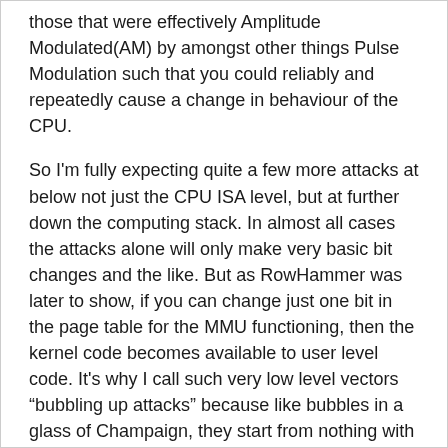those that were effectively Amplitude Modulated(AM) by amongst other things Pulse Modulation such that you could reliably and repeatedly cause a change in behaviour of the CPU.
So I'm fully expecting quite a few more attacks at below not just the CPU ISA level, but at further down the computing stack. In almost all cases the attacks alone will only make very basic bit changes and the like. But as RowHammer was later to show, if you can change just one bit in the page table for the MMU functioning, then the kernel code becomes available to user level code. It's why I call such very low level vectors “bubbling up attacks” because like bubbles in a glass of Champaign, they start from nothing with the most primitive of changes, and as they rise up expand into way way larger things, those bit flips become major security vulnerabilities.
Currently we have no commercial computing systems that can defend against bubbling up attacks, which is why they are going to become bigger and bigger news as people start to investigate below the CPU ISA level in the computing stack…